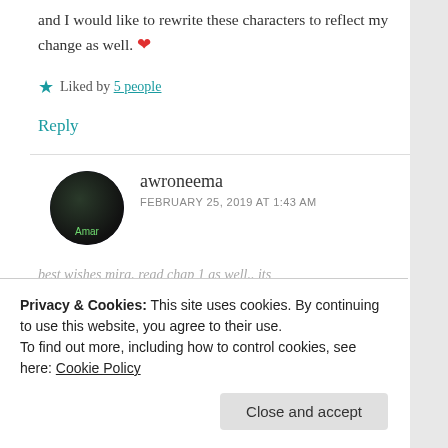and I would like to rewrite these characters to reflect my change as well. ❤
★ Liked by 5 people
Reply
awroneema
FEBRUARY 25, 2019 AT 1:43 AM
best wishes mira. read chap 1 as well..  its
Privacy & Cookies: This site uses cookies. By continuing to use this website, you agree to their use. To find out more, including how to control cookies, see here: Cookie Policy
Close and accept